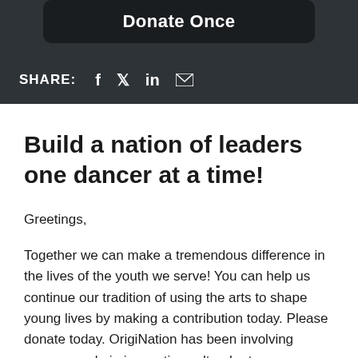Donate Once
SHARE: f  in  ✉
Build a nation of leaders one dancer at a time!
Greetings,
Together we can make a tremendous difference in the lives of the youth we serve! You can help us continue our tradition of using the arts to shape young lives by making a contribution today. Please donate today. OrigiNation has been involving young people in innovative cultural arts